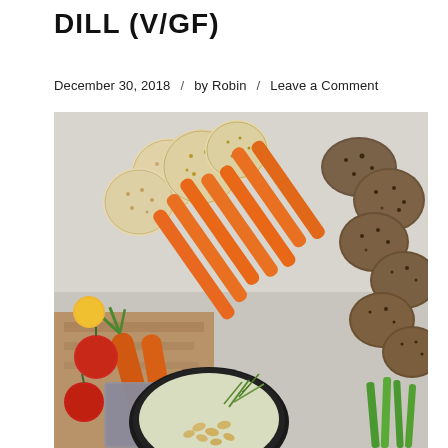DILL (V/GF)
December 30, 2018 / by Robin / Leave a Comment
[Figure (photo): Overhead flat-lay food photo showing a charcuterie-style snack board with round crackers, carrot sticks and whole carrots, dark seeded bread crisps, cherry tomatoes, and a dark bowl filled with a creamy dill dip topped with pine nuts and fresh dill fronds, with green onions visible on the right side.]